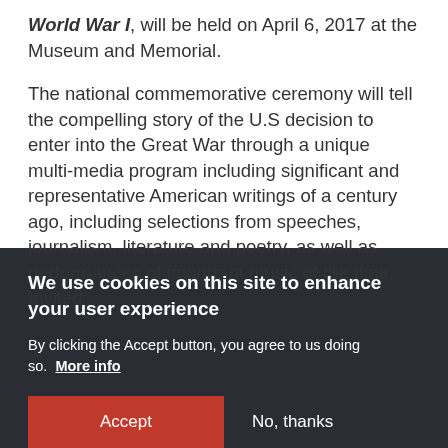World War I, will be held on April 6, 2017 at the Museum and Memorial.
The national commemorative ceremony will tell the compelling story of the U.S decision to enter into the Great War through a unique multi-media program including significant and representative American writings of a century ago, including selections from speeches, journalism, literature and poetry, as well as performances of important music of the time. Invited
We use cookies on this site to enhance your user experience
By clicking the Accept button, you agree to us doing so. More info